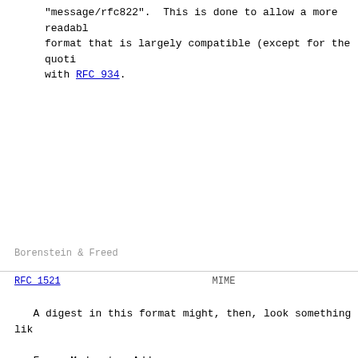"message/rfc822".  This is done to allow a more readable format that is largely compatible (except for the quoting) with RFC 934.
Borenstein & Freed
RFC 1521                        MIME
A digest in this format might, then, look something like

From: Moderator-Address
To: Recipient-List